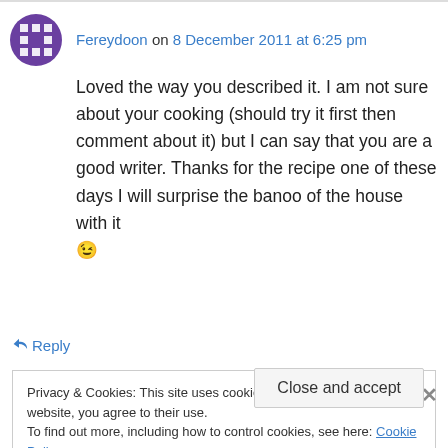Fereydoon on 8 December 2011 at 6:25 pm
Loved the way you described it. I am not sure about your cooking (should try it first then comment about it) but I can say that you are a good writer. Thanks for the recipe one of these days I will surprise the banoo of the house with it 😉
↪ Reply
Privacy & Cookies: This site uses cookies. By continuing to use this website, you agree to their use.
To find out more, including how to control cookies, see here: Cookie Policy
Close and accept